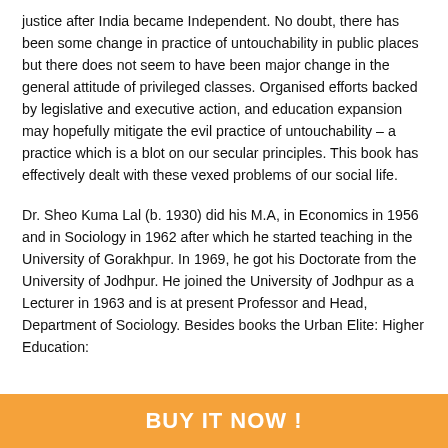justice after India became Independent. No doubt, there has been some change in practice of untouchability in public places but there does not seem to have been major change in the general attitude of privileged classes. Organised efforts backed by legislative and executive action, and education expansion may hopefully mitigate the evil practice of untouchability – a practice which is a blot on our secular principles. This book has effectively dealt with these vexed problems of our social life.
Dr. Sheo Kuma Lal (b. 1930) did his M.A, in Economics in 1956 and in Sociology in 1962 after which he started teaching in the University of Gorakhpur. In 1969, he got his Doctorate from the University of Jodhpur. He joined the University of Jodhpur as a Lecturer in 1963 and is at present Professor and Head, Department of Sociology. Besides books the Urban Elite: Higher Education:
BUY IT NOW !